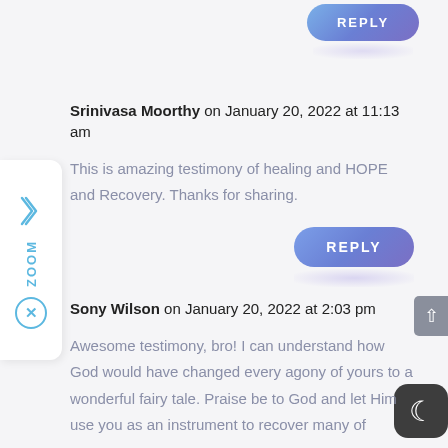[Figure (screenshot): REPLY button at top right, blue/purple pill-shaped button with white text 'REPLY']
Srinivasa Moorthy on January 20, 2022 at 11:13 am
This is amazing testimony of healing and HOPE and Recovery. Thanks for sharing.
[Figure (screenshot): REPLY button, blue/purple pill-shaped button with white text 'REPLY']
Sony Wilson on January 20, 2022 at 2:03 pm
Awesome testimony, bro! I can understand how God would have changed every agony of yours to a wonderful fairy tale. Praise be to God and let Him use you as an instrument to recover many of